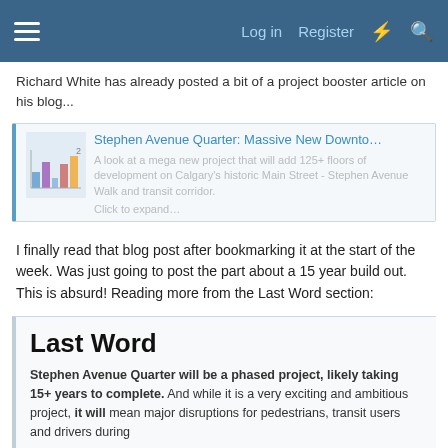Log in  Register
Richard White has already posted a bit of a project booster article on his blog...
[Figure (screenshot): Link preview card for 'Stephen Avenue Quarter: Massive New Downto...' with thumbnail showing bar chart icons and description text: 'A look at a mega new project that will add 125+ floors of development on Calgary's historic Main Street - Stephen Avenue Walk and transit corridor.' followed by 'Click to expand...']
I finally read that blog post after bookmarking it at the start of the week. Was just going to post the part about a 15 year build out. This is absurd! Reading more from the Last Word section:
Last Word
Stephen Avenue Quarter will be a phased project, likely taking 15+ years to complete. And while it is a very exciting and ambitious project, it will mean major disruptions for pedestrians, transit users and drivers during